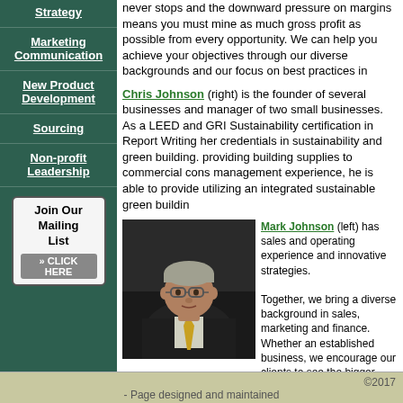Strategy
Marketing Communication
New Product Development
Sourcing
Non-profit Leadership
Join Our Mailing List » CLICK HERE
never stops and the downward pressure on margins means you must mine as much gross profit as possible from every opportunity. We can help you achieve your objectives through our diverse backgrounds and our focus on best practices in
Chris Johnson (right) is the founder of several businesses and manager of two small businesses. As a LEED and GRI Sustainability certification in Report Writing her credentials in sustainability and green building. providing building supplies to commercial cons management experience, he is able to provide utilizing an integrated sustainable green buildin
[Figure (photo): Photo of Mark Johnson, a middle-aged man wearing glasses, a dark suit and yellow tie]
Mark Johnson (left) has sales and operating experience and innovative strategies. Together, we bring a diverse background in sales, marketing and finance. Whether an established business, we encourage our clients to see the bigger picture in the choices we make as we help our clients.
©2017 - Page designed and maintained